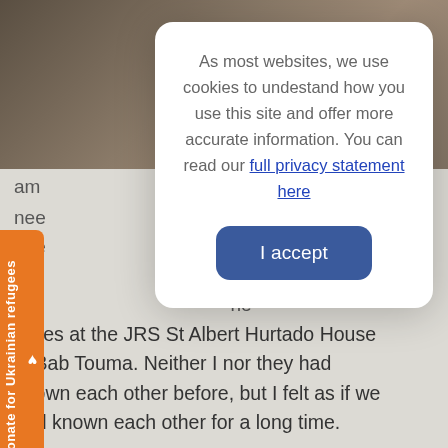[Figure (screenshot): Screenshot of a website with a cookie consent modal dialog overlaid on a webpage about Ukrainian refugees. The modal has text about cookies and a blue 'I accept' button. An orange 'Donate for Ukrainian refugees' button is visible on the left side.]
As most websites, we use cookies to undestand how you use this site and offer more accurate information. You can read our full privacy statement here
I accept
Donate for Ukrainian refugees
milies at the JRS St Albert Hurtado House in Bab Touma. Neither I nor they had known each other before, but I felt as if we had known each other for a long time.